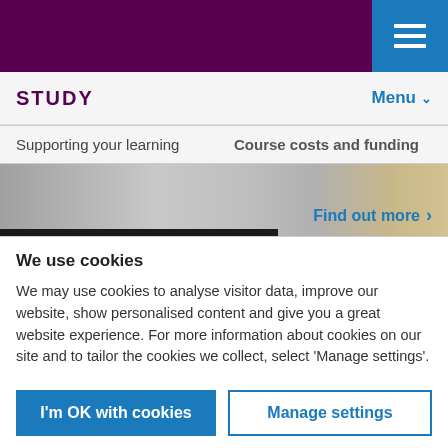STUDY | Menu
Supporting your learning
Course costs and funding
[Figure (photo): Partial image strip showing study-related imagery with a 'Find out more >' link overlay]
We use cookies
We may use cookies to analyse visitor data, improve our website, show personalised content and give you a great website experience. For more information about cookies on our site and to tailor the cookies we collect, select 'Manage settings'.
I'm OK with cookies
Manage settings